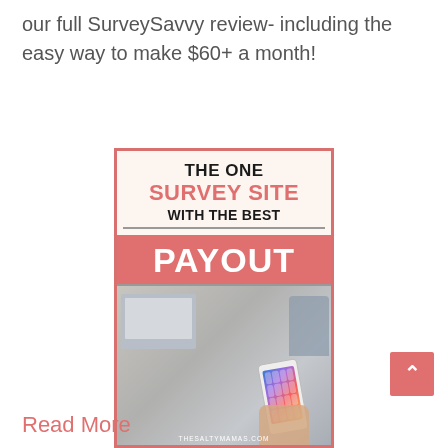our full SurveySavvy review- including the easy way to make $60+ a month!
[Figure (illustration): Promotional card image for SurveySavvy survey site. Text reads: THE ONE SURVEY SITE WITH THE BEST PAYOUT. Below is a photo of a hand holding a smartphone in an office setting. URL: THESALTYMAMAS.COM]
Read More